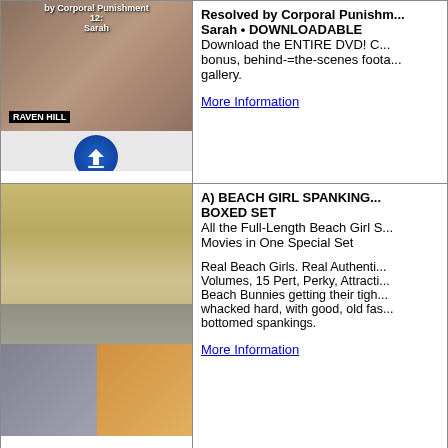[Figure (photo): Product image for Resolved by Corporal Punishment 12: Sarah, with RAVEN HILL logo and DOWNLOADABLE badge]
Resolved by Corporal Punishment 12: Sarah • DOWNLOADABLE
Download the ENTIRE DVD! C... bonus, behind-=the-scenes foota... gallery.
More Information
[Figure (photo): Beach Girl Spanking Boxed Set product images - beach girls and scenes]
A) BEACH GIRL SPANKING BOXED SET
All the Full-Length Beach Girl S... Movies in One Special Set

Real Beach Girls. Real Authenti... Volumes, 15 Pert, Perky, Attracti... Beach Bunnies getting their tigh... whacked hard, with good, old fas... bottomed spankings.
More Information
[Figure (photo): Punishment Day DVD product image (partially visible)]
Punishment Day (DVD)
Watch as cult leader Adrian adm... to one pretty novice. Then, an ad... member, one who has now learn...